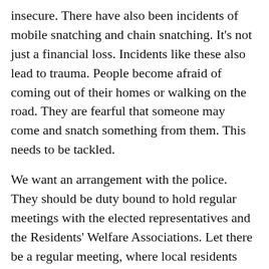insecure. There have also been incidents of mobile snatching and chain snatching. It's not just a financial loss. Incidents like these also lead to trauma. People become afraid of coming out of their homes or walking on the road. They are fearful that someone may come and snatch something from them. This needs to be tackled.
We want an arrangement with the police. They should be duty bound to hold regular meetings with the elected representatives and the Residents' Welfare Associations. Let there be a regular meeting, where local residents can voice their issues. We will try to do this and we hope to get the police's support.
There are some bigger infrastructure projects in the pipeline. These will focus on traffic in CR Park, GK2, GK1 at Archana red-light and at the Chirag Delhi red-light. These changes will streamline traffic.